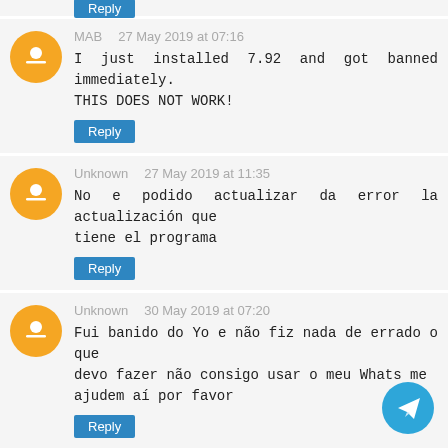MAB   27 May 2019 at 07:16
I just installed 7.92 and got banned immediately. THIS DOES NOT WORK!
[Reply]
Unknown   27 May 2019 at 11:35
No e podido actualizar da error la actualización que tiene el programa
[Reply]
Unknown   30 May 2019 at 07:20
Fui banido do Yo e não fiz nada de errado o que devo fazer não consigo usar o meu Whats me ajudem aí por favor
[Reply]
Unknown   3 June 2019 at 09:15